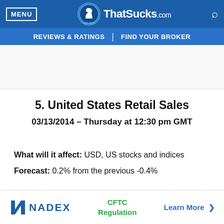MENU | ThatSucks.com | Search
REVIEWS & RATINGS | FIND YOUR BROKER
5. United States Retail Sales
03/13/2014 – Thursday at 12:30 pm GMT
What will it affect: USD, US stocks and indices
Forecast: 0.2% from the previous -0.4%
[Figure (logo): NADEX advertisement banner with CFTC Regulation text and Learn More link]